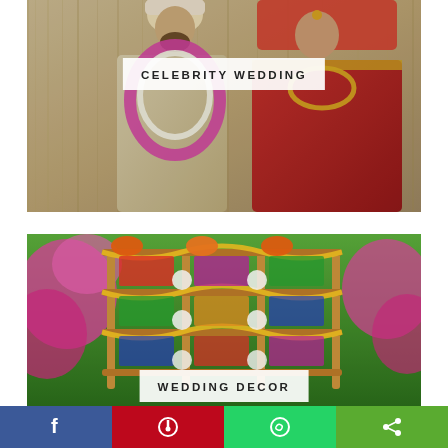[Figure (photo): Indian wedding couple — groom in beige sherwani with white turban and pink floral garland, bride in red bridal lehenga with gold jewelry, posing together against a floral backdrop]
CELEBRITY WEDDING
[Figure (photo): Colorful Indian wedding decor — wooden grid backdrop decorated with marigold garlands, pink bougainvillea flowers, orange turban hats, and colorful fabric hangings outdoors]
WEDDING DECOR